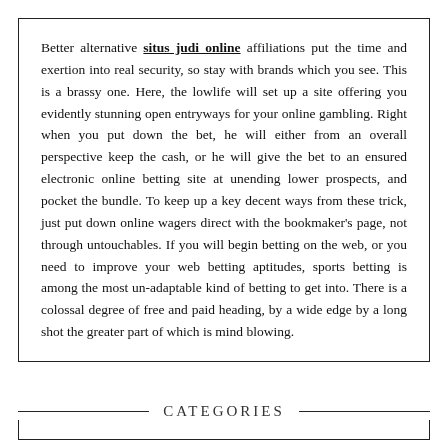Better alternative situs judi online affiliations put the time and exertion into real security, so stay with brands which you see. This is a brassy one. Here, the lowlife will set up a site offering you evidently stunning open entryways for your online gambling. Right when you put down the bet, he will either from an overall perspective keep the cash, or he will give the bet to an ensured electronic online betting site at unending lower prospects, and pocket the bundle. To keep up a key decent ways from these trick, just put down online wagers direct with the bookmaker's page, not through untouchables. If you will begin betting on the web, or you need to improve your web betting aptitudes, sports betting is among the most un-adaptable kind of betting to get into. There is a colossal degree of free and paid heading, by a wide edge by a long shot the greater part of which is mind blowing.
CATEGORIES